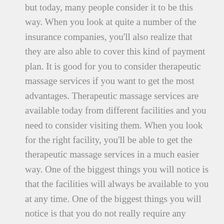but today, many people consider it to be this way. When you look at quite a number of the insurance companies, you'll also realize that they are also able to cover this kind of payment plan. It is good for you to consider therapeutic massage services if you want to get the most advantages. Therapeutic massage services are available today from different facilities and you need to consider visiting them. When you look for the right facility, you'll be able to get the therapeutic massage services in a much easier way. One of the biggest things you will notice is that the facilities will always be available to you at any time. One of the biggest things you will notice is that you do not really require any prescription to use the massage therapy services, this is a service that is openly available to you and you can decide to go on your own. This article is going to help you to know some of the benefits of therapeutic massage services.